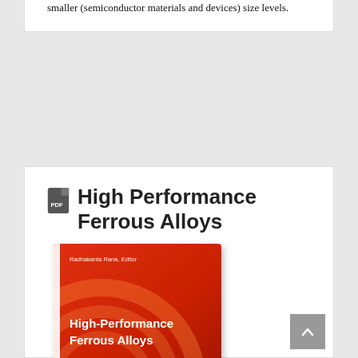smaller (semiconductor materials and devices) size levels.
High Performance Ferrous Alloys
[Figure (photo): Book cover of 'High-Performance Ferrous Alloys' edited by Radhakanta Rana, published by Springer. Red cover with white text and Springer logo at bottom right.]